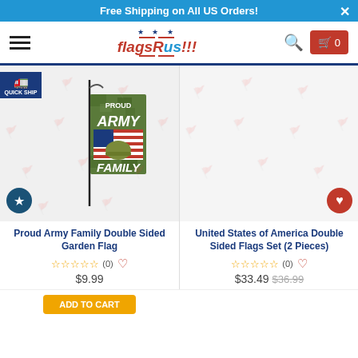Free Shipping on All US Orders!
[Figure (logo): FlagsRus!!! logo with star and red/blue stripes]
[Figure (photo): Proud Army Family Double Sided Garden Flag product image with quick ship badge]
Proud Army Family Double Sided Garden Flag
☆☆☆☆☆ (0) ♡ $9.99
United States of America Double Sided Flags Set (2 Pieces)
☆☆☆☆☆ (0) ♡ $33.49 $36.99